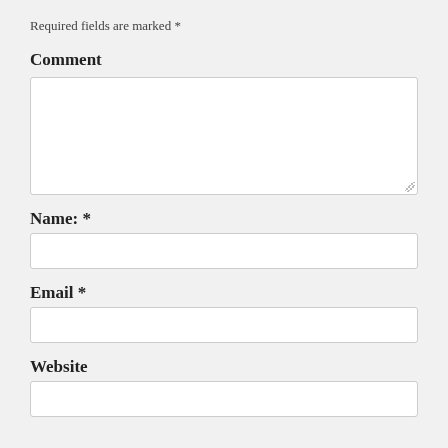Required fields are marked *
Comment
[Figure (other): Large empty textarea input box for comment entry]
Name: *
[Figure (other): Single-line text input box for name]
Email *
[Figure (other): Single-line text input box for email]
Website
[Figure (other): Single-line text input box for website]